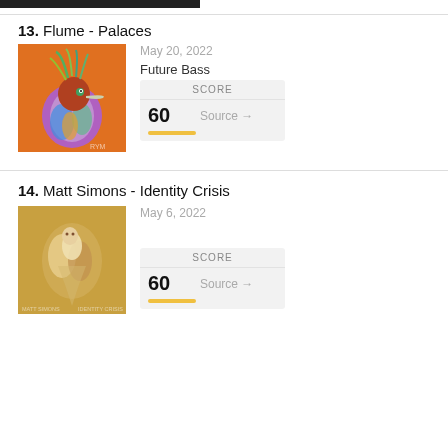[Figure (other): Black header bar at top left]
13. Flume - Palaces
[Figure (photo): Album art for Flume - Palaces: colorful stylized bird with iridescent feathers on orange background]
May 20, 2022
Future Bass
| SCORE |
| --- |
| 60 | Source → |
14. Matt Simons - Identity Crisis
[Figure (photo): Album art for Matt Simons - Identity Crisis: figure composition on golden/beige background]
May 6, 2022
| SCORE |
| --- |
| 60 | Source → |